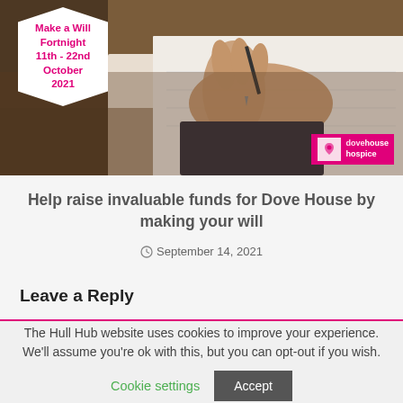[Figure (photo): Photo of a person signing a document at a desk, with a Dove House Hospice Make a Will Fortnight badge overlay (11th - 22nd October 2021) and Dove House Hospice logo in the bottom right corner.]
Help raise invaluable funds for Dove House by making your will
September 14, 2021
Leave a Reply
The Hull Hub website uses cookies to improve your experience. We'll assume you're ok with this, but you can opt-out if you wish. Cookie settings Accept